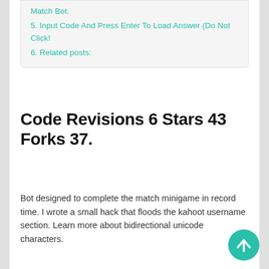Match Bot.
5. Input Code And Press Enter To Load Answer (Do Not Click!
6. Related posts:
Code Revisions 6 Stars 43 Forks 37.
Bot designed to complete the match minigame in record time. I wrote a small hack that floods the kahoot username section. Learn more about bidirectional unicode characters.
An Easy Way To Do This Is To Use The Inspect Element Panel.
Join a round of quizlet live here. This is also